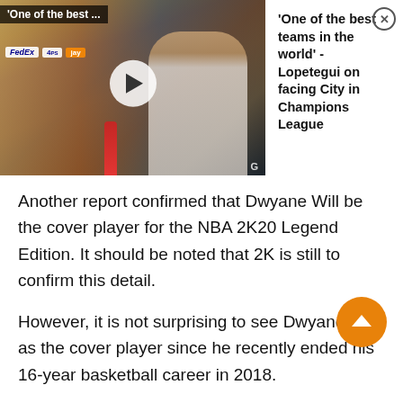[Figure (screenshot): Video thumbnail showing a man at a press conference, with sponsor logos (FedEx, PlayStation) visible in background. Overlaid text reads 'One of the best...' at top left. A white play button circle is centered on the thumbnail.]
'One of the best teams in the world' - Lopetegui on facing City in Champions League
Another report confirmed that Dwyane Will be the cover player for the NBA 2K20 Legend Edition. It should be noted that 2K is still to confirm this detail.
However, it is not surprising to see Dwyane Will as the cover player since he recently ended his 16-year basketball career in 2018.
Dwayne Will had a spectacular career run, he has won three championships for Miami Heat and has been 13-time